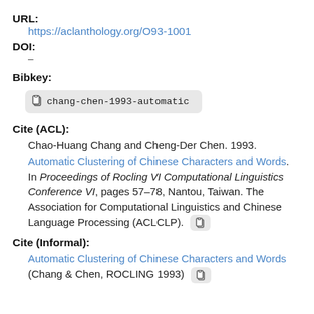URL:
https://aclanthology.org/O93-1001
DOI:
–
Bibkey:
chang-chen-1993-automatic
Cite (ACL):
Chao-Huang Chang and Cheng-Der Chen. 1993. Automatic Clustering of Chinese Characters and Words. In Proceedings of Rocling VI Computational Linguistics Conference VI, pages 57–78, Nantou, Taiwan. The Association for Computational Linguistics and Chinese Language Processing (ACLCLP).
Cite (Informal):
Automatic Clustering of Chinese Characters and Words (Chang & Chen, ROCLING 1993)